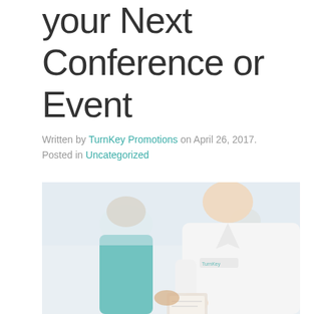your Next Conference or Event
Written by TurnKey Promotions on April 26, 2017. Posted in Uncategorized
[Figure (photo): A woman in a white polo shirt with a TurnKey Promotions logo handing something to another person at a conference or event. Another person in a teal shirt is visible in the background.]